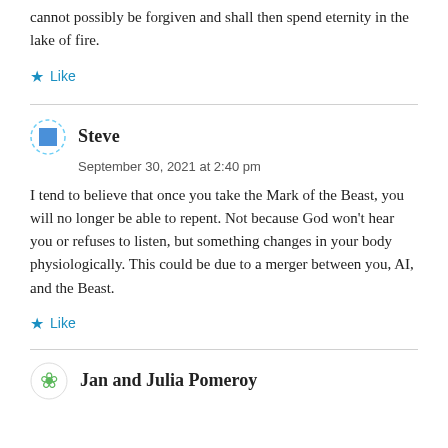cannot possibly be forgiven and shall then spend eternity in the lake of fire.
Like
Steve
September 30, 2021 at 2:40 pm
I tend to believe that once you take the Mark of the Beast, you will no longer be able to repent. Not because God won't hear you or refuses to listen, but something changes in your body physiologically. This could be due to a merger between you, AI, and the Beast.
Like
Jan and Julia Pomeroy